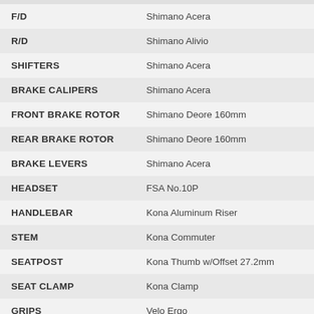| Component | Specification |
| --- | --- |
| F/D | Shimano Acera |
| R/D | Shimano Alivio |
| SHIFTERS | Shimano Acera |
| BRAKE CALIPERS | Shimano Acera |
| FRONT BRAKE ROTOR | Shimano Deore 160mm |
| REAR BRAKE ROTOR | Shimano Deore 160mm |
| BRAKE LEVERS | Shimano Acera |
| HEADSET | FSA No.10P |
| HANDLEBAR | Kona Aluminum Riser |
| STEM | Kona Commuter |
| SEATPOST | Kona Thumb w/Offset 27.2mm |
| SEAT CLAMP | Kona Clamp |
| GRIPS | Velo Ergo |
| SADDLE | Kona Commuter |
| FRONT HUB | Joytech 100x9mm |